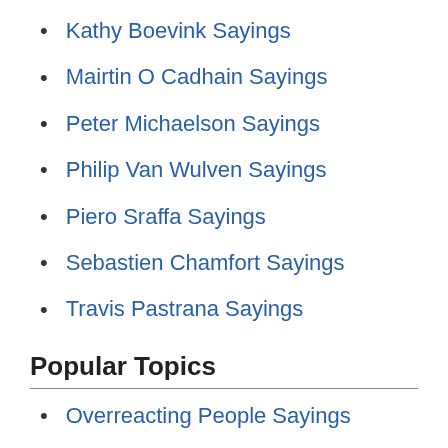Kathy Boevink Sayings
Mairtin O Cadhain Sayings
Peter Michaelson Sayings
Philip Van Wulven Sayings
Piero Sraffa Sayings
Sebastien Chamfort Sayings
Travis Pastrana Sayings
Popular Topics
Overreacting People Sayings
Ancient Societies Sayings